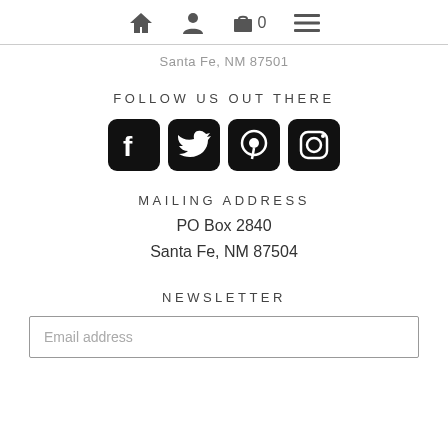[home icon] [user icon] [cart icon] 0 [menu icon]
Santa Fe, NM 87501
FOLLOW US OUT THERE
[Figure (infographic): Four social media icons: Facebook, Twitter, Pinterest, Instagram — black rounded square buttons]
MAILING ADDRESS
PO Box 2840
Santa Fe, NM 87504
NEWSLETTER
Email address